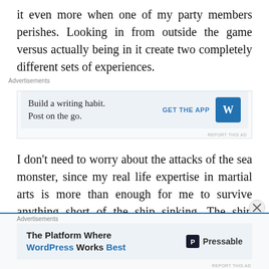it even more when one of my party members perishes. Looking in from outside the game versus actually being in it create two completely different sets of experiences.
[Figure (screenshot): Advertisement banner: 'Build a writing habit. Post on the go.' with GET THE APP button and WordPress logo icon]
I don't need to worry about the attacks of the sea monster, since my real life expertise in martial arts is more than enough for me to survive anything short of the ship sinking. The ship sinking would create a considerable dilemma, given Lost's party would also be sent back to their spawn point. I look at the kingdom insignia on the backs of their right hands, and frown at the thought o
[Figure (screenshot): Advertisement banner: 'The Platform Where WordPress Works Best' with Pressable logo]